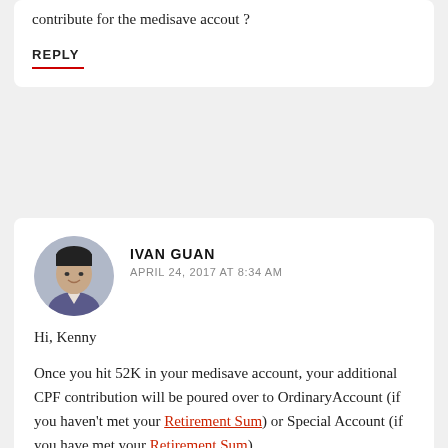contribute for the medisave accout ?
REPLY
IVAN GUAN
APRIL 24, 2017 AT 8:34 AM
Hi, Kenny
Once you hit 52K in your medisave account, your additional CPF contribution will be poured over to OrdinaryAccount (if you haven't met your Retirement Sum) or Special Account (if you have met your Retirement Sum)
REPLY